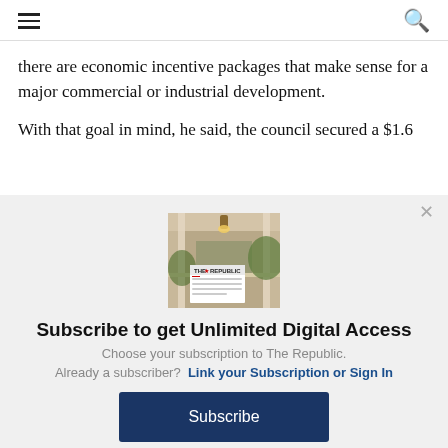≡  🔍
there are economic incentive packages that make sense for a major commercial or industrial development.
With that goal in mind, he said, the council secured a $1.6
[Figure (photo): Promotional image of a house porch with a newspaper overlay reading 'THE REPUBLIC']
Subscribe to get Unlimited Digital Access
Choose your subscription to The Republic.
Already a subscriber?  Link your Subscription or Sign In
Subscribe